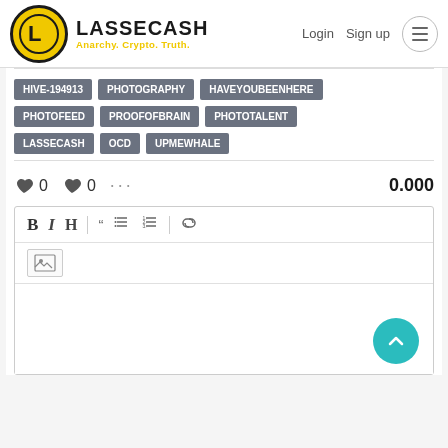LASSECASH — Anarchy. Crypto. Truth. | Login  Sign up
HIVE-194913
PHOTOGRAPHY
HAVEYOUBEENHERE
PHOTOFEED
PROOFOFBRAIN
PHOTOTALENT
LASSECASH
OCD
UPMEWHALE
♥ 0  ♥ 0  ···  0.000
[Figure (screenshot): Comment editor toolbar with Bold, Italic, Heading, Quote, Ordered list, Unordered list, Link buttons and image upload icon; empty text area below with a teal scroll-to-top button]